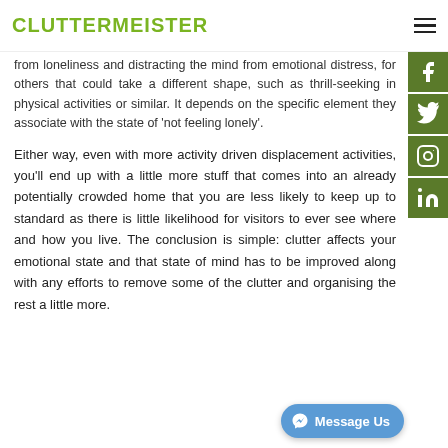CLUTTERMEISTER
from loneliness and distracting the mind from emotional distress, for others that could take a different shape, such as thrill-seeking in physical activities or similar. It depends on the specific element they associate with the state of 'not feeling lonely'.
Either way, even with more activity driven displacement activities, you'll end up with a little more stuff that comes into an already potentially crowded home that you are less likely to keep up to standard as there is little likelihood for visitors to ever see where and how you live. The conclusion is simple: clutter affects your emotional state and that state of mind has to be improved along with any efforts to remove some of the clutter and organising the rest a little more.